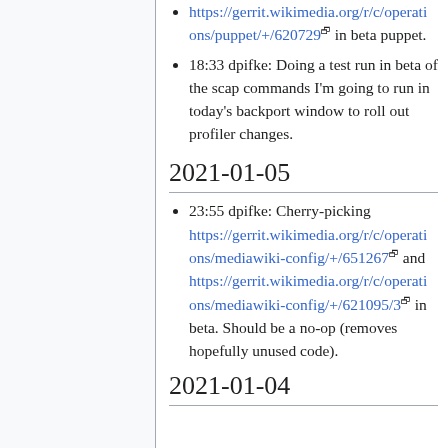https://gerrit.wikimedia.org/r/c/operations/puppet/+/620729 in beta puppet.
18:33 dpifke: Doing a test run in beta of the scap commands I'm going to run in today's backport window to roll out profiler changes.
2021-01-05
23:55 dpifke: Cherry-picking https://gerrit.wikimedia.org/r/c/operations/mediawiki-config/+/651267 and https://gerrit.wikimedia.org/r/c/operations/mediawiki-config/+/621095/3 in beta. Should be a no-op (removes hopefully unused code).
2021-01-04